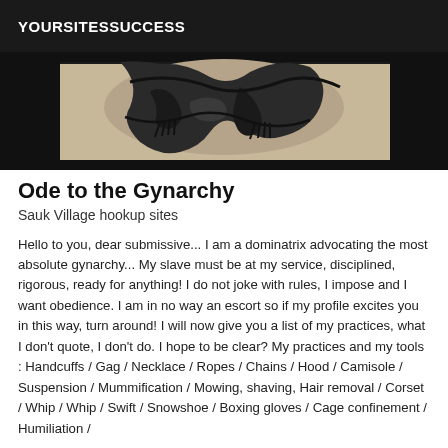YOURSITESSUCCESS
[Figure (photo): Close-up photo of a tattoo on skin, black ink design resembling skeletal or mechanical figures on a beige/tan background]
Ode to the Gynarchy
Sauk Village hookup sites
Hello to you, dear submissive... I am a dominatrix advocating the most absolute gynarchy... My slave must be at my service, disciplined, rigorous, ready for anything! I do not joke with rules, I impose and I want obedience. I am in no way an escort so if my profile excites you in this way, turn around! I will now give you a list of my practices, what I don't quote, I don't do. I hope to be clear? My practices and my tools : Handcuffs / Gag / Necklace / Ropes / Chains / Hood / Camisole / Suspension / Mummification / Mowing, shaving, Hair removal / Corset / Whip / Whip / Swift / Snowshoe / Boxing gloves / Cage confinement / Humiliation /